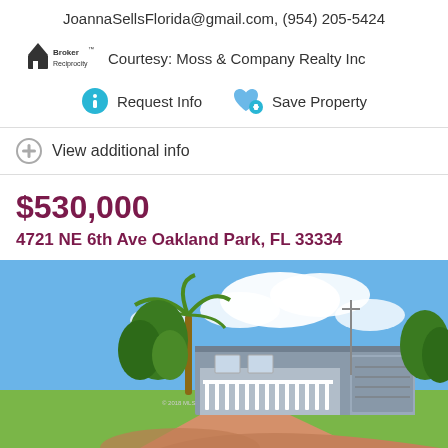JoannaSellsFlorida@gmail.com, (954) 205-5424
Courtesy: Moss & Company Realty Inc
Request Info   Save Property
View additional info
$530,000
4721 NE 6th Ave Oakland Park, FL 33334
[Figure (photo): Exterior photo of a single-story house with a wide driveway, palm tree, blue sky with clouds, white picket fence porch, and attached garage.]